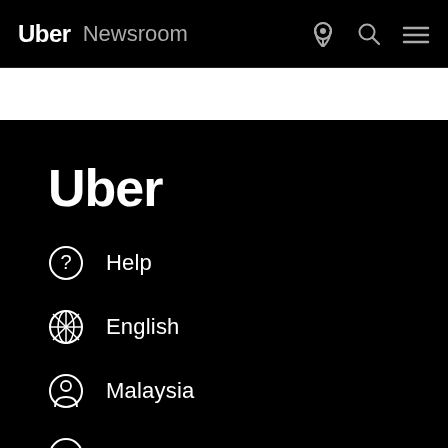Uber Newsroom
Uber
Help
English
Malaysia